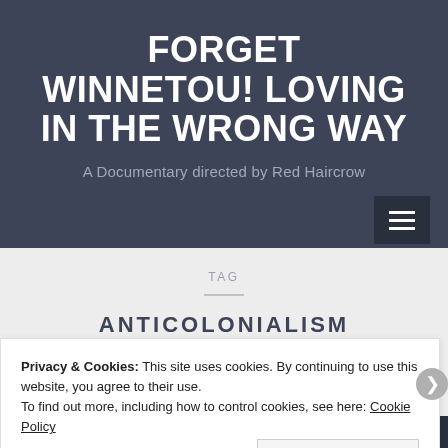FORGET WINNETOU! LOVING IN THE WRONG WAY
A Documentary directed by Red Haircrow
TAG
ANTICOLONIALISM
Privacy & Cookies: This site uses cookies. By continuing to use this website, you agree to their use.
To find out more, including how to control cookies, see here: Cookie Policy
Close and accept